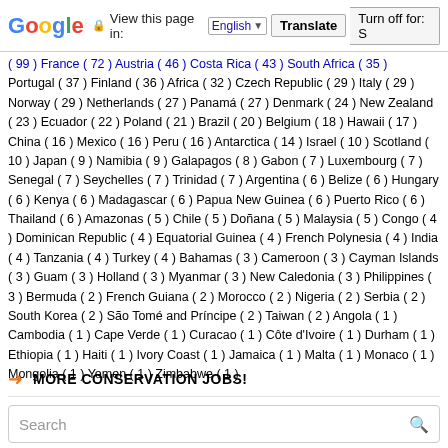Google — View this page in: English [▼] | Translate | Turn off for: S
( 99 ) France ( 72 ) Austria ( 46 ) Costa Rica ( 43 ) South Africa ( 35 ) Portugal ( 37 ) Finland ( 36 ) Africa ( 32 ) Czech Republic ( 29 ) Italy ( 29 ) Norway ( 29 ) Netherlands ( 27 ) Panamá ( 27 ) Denmark ( 24 ) New Zealand ( 23 ) Ecuador ( 22 ) Poland ( 21 ) Brazil ( 20 ) Belgium ( 18 ) Hawaii ( 17 ) China ( 16 ) Mexico ( 16 ) Peru ( 16 ) Antarctica ( 14 ) Israel ( 10 ) Scotland ( 10 ) Japan ( 9 ) Namibia ( 9 ) Galapagos ( 8 ) Gabon ( 7 ) Luxembourg ( 7 ) Senegal ( 7 ) Seychelles ( 7 ) Trinidad ( 7 ) Argentina ( 6 ) Belize ( 6 ) Hungary ( 6 ) Kenya ( 6 ) Madagascar ( 6 ) Papua New Guinea ( 6 ) Puerto Rico ( 6 ) Thailand ( 6 ) Amazonas ( 5 ) Chile ( 5 ) Doñana ( 5 ) Malaysia ( 5 ) Congo ( 4 ) Dominican Republic ( 4 ) Equatorial Guinea ( 4 ) French Polynesia ( 4 ) India ( 4 ) Tanzania ( 4 ) Turkey ( 4 ) Bahamas ( 3 ) Cameroon ( 3 ) Cayman Islands ( 3 ) Guam ( 3 ) Holland ( 3 ) Myanmar ( 3 ) New Caledonia ( 3 ) Philippines ( 3 ) Bermuda ( 2 ) French Guiana ( 2 ) Morocco ( 2 ) Nigeria ( 2 ) Serbia ( 2 ) South Korea ( 2 ) São Tomé and Príncipe ( 2 ) Taiwan ( 2 ) Angola ( 1 ) Cambodia ( 1 ) Cape Verde ( 1 ) Curacao ( 1 ) Côte d'Ivoire ( 1 ) Durham ( 1 ) Ethiopia ( 1 ) Haiti ( 1 ) Ivory Coast ( 1 ) Jamaica ( 1 ) Malta ( 1 ) Monaco ( 1 ) Mongolia ( 1 ) Yemen ( 1 ) Zimbabwe ( 1 )
➜  MORE CONSERVATION JOBS!